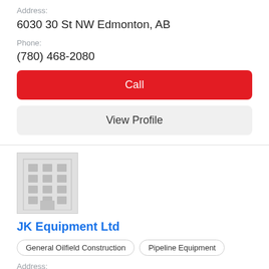Address:
6030 30 St NW Edmonton, AB
Phone:
(780) 468-2080
Call
View Profile
[Figure (illustration): Generic building/company placeholder icon with grey background and grid of windows]
JK Equipment Ltd
General Oilfield Construction
Pipeline Equipment
Address:
2018 - 30th Ave SW Calgary, AB
Phone:
(403) 244-7813
Call